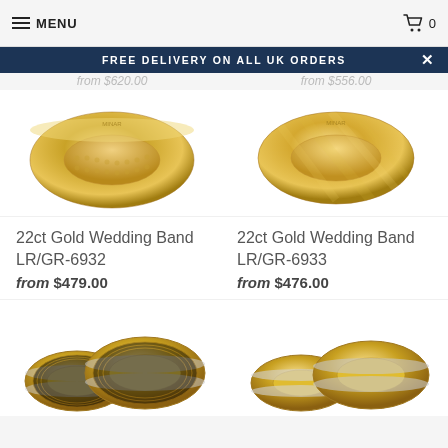MENU  [cart] 0
FREE DELIVERY ON ALL UK ORDERS
from $620.00  from $556.00
[Figure (photo): 22ct gold wedding band LR/GR-6932 with textured dot pattern surface]
[Figure (photo): 22ct gold wedding band LR/GR-6933 with diagonal stripe pattern surface]
22ct Gold Wedding Band LR/GR-6932
from $479.00
22ct Gold Wedding Band LR/GR-6933
from $476.00
[Figure (photo): Two gold and silver striped wedding bands, smaller and larger]
[Figure (photo): Two gold and silver beveled edge wedding bands, smaller and larger]